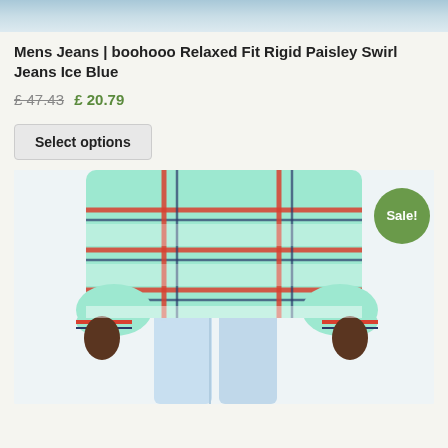[Figure (photo): Top portion of a person wearing light blue jeans, cropped at top of frame, sandy/grey background]
Mens Jeans | boohooo Relaxed Fit Rigid Paisley Swirl Jeans Ice Blue
£ 47.43 £ 20.79
Select options
[Figure (photo): Person wearing a mint/teal plaid sweater with red and navy stripes over light blue relaxed fit jeans, white background, Sale! badge in green circle top right]